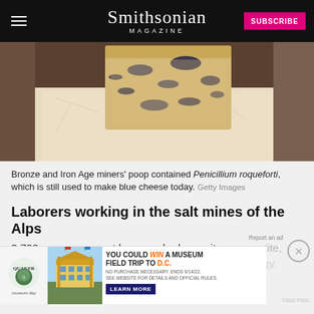Smithsonian MAGAZINE
[Figure (photo): Close-up photo of a block of blue cheese with dark mold veins, resting on white parchment paper]
Bronze and Iron Age miners' poop contained Penicillium roqueforti, which is still used to make blue cheese today. Getty Images
Laborers working in the salt mines of the Alps
2,700 years ago must have worked up quite an appetite... (article continues) Current ... their hunger with cheese and beer, informed
[Figure (screenshot): Advertisement overlay: Quaker and Museum Day - YOU COULD WIN A MUSEUM FIELD TRIP TO D.C. - LEARN MORE]